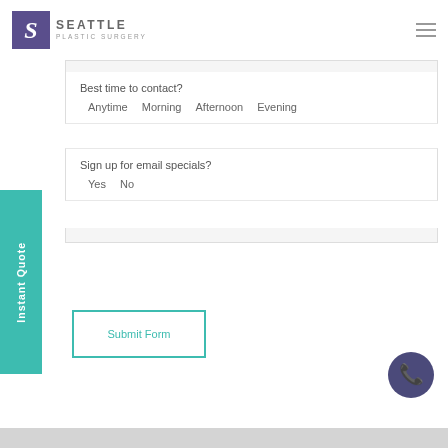[Figure (logo): Seattle Plastic Surgery logo with purple S icon and text]
Best time to contact?
Anytime  Morning  Afternoon  Evening
Sign up for email specials?
Yes  No
Instant Quote
Submit Form
[Figure (illustration): Purple circular phone call button icon]